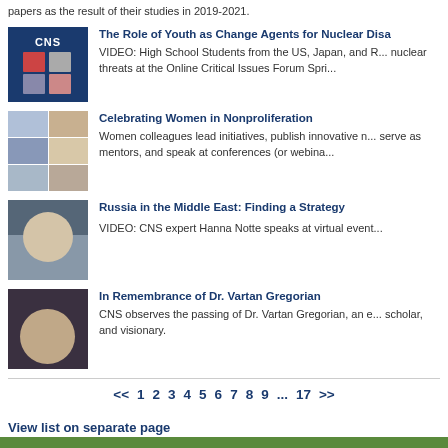papers as the result of their studies in 2019-2021.
The Role of Youth as Change Agents for Nuclear Disa... VIDEO: High School Students from the US, Japan, and R... nuclear threats at the Online Critical Issues Forum Spri...
Celebrating Women in Nonproliferation. Women colleagues lead initiatives, publish innovative n... serve as mentors, and speak at conferences (or webina...
Russia in the Middle East: Finding a Strategy. VIDEO: CNS expert Hanna Notte speaks at virtual event...
In Remembrance of Dr. Vartan Gregorian. CNS observes the passing of Dr. Vartan Gregorian, an e... scholar, and visionary.
<< 1 2 3 4 5 6 7 8 9 ... 17 >>
View list on separate page